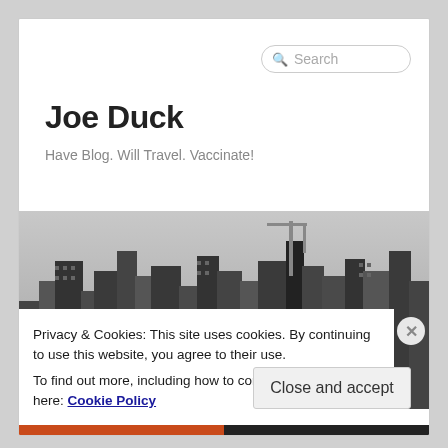Joe Duck
Have Blog. Will Travel. Vaccinate!
[Figure (photo): Black and white aerial photograph of a dense city skyline with many tall skyscrapers]
Privacy & Cookies: This site uses cookies. By continuing to use this website, you agree to their use.
To find out more, including how to control cookies, see here: Cookie Policy
Close and accept